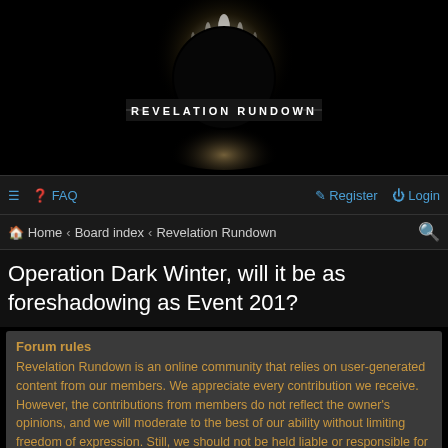[Figure (illustration): Solar eclipse image with Revelation Rundown logo text on dark background]
≡  FAQ    Register  Login
Home › Board index › Revelation Rundown
Operation Dark Winter, will it be as foreshadowing as Event 201?
Forum rules
Revelation Rundown is an online community that relies on user-generated content from our members. We appreciate every contribution we receive. However, the contributions from members do not reflect the owner's opinions, and we will moderate to the best of our ability without limiting freedom of expression. Still, we should not be held liable or responsible for the comments of our community members who do not abide by the terms of service.